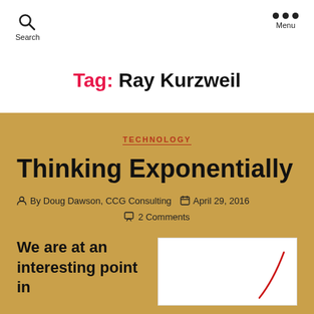Search  Menu
Tag: Ray Kurzweil
TECHNOLOGY
Thinking Exponentially
By Doug Dawson, CCG Consulting   April 29, 2016   2 Comments
We are at an interesting point in
[Figure (illustration): A chart or graph with a red curved line on white background, partially visible]